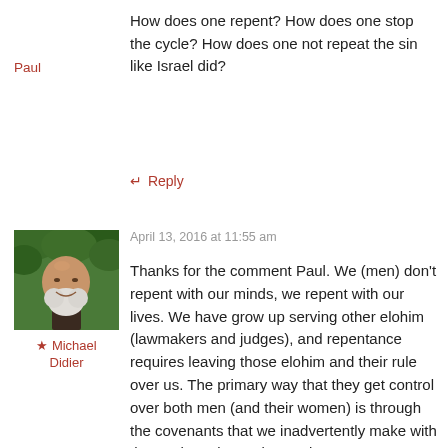How does one repent? How does one stop the cycle? How does one not repeat the sin like Israel did?
Paul
↵ Reply
[Figure (photo): Profile photo of a bald man with a white beard, smiling, with green foliage background]
★ Michael Didier
April 13, 2016 at 11:55 am
Thanks for the comment Paul. We (men) don't repent with our minds, we repent with our lives. We have grow up serving other elohim (lawmakers and judges), and repentance requires leaving those elohim and their rule over us. The primary way that they get control over both men (and their women) is through the covenants that we inadvertently make with them. The Drivers License is